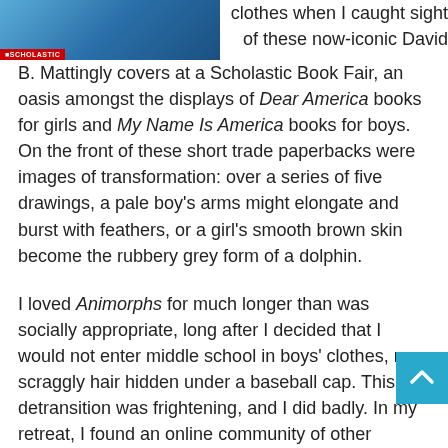[Figure (photo): Book cover image with Scholastic logo/red bar at bottom, blue background with partial figure visible at top]
clothes when I caught sight of these now-iconic David B. Mattingly covers at a Scholastic Book Fair, an oasis amongst the displays of Dear America books for girls and My Name Is America books for boys. On the front of these short trade paperbacks were images of transformation: over a series of five drawings, a pale boy's arms might elongate and burst with feathers, or a girl's smooth brown skin become the rubbery grey form of a dolphin.
I loved Animorphs for much longer than was socially appropriate, long after I decided that I would not enter middle school in boys' clothes, my scraggly hair hidden under a baseball cap. This first detransition was frightening, and I did badly. In my retreat, I found an online community of other Animorphs devotees, other kids who were drawn to texts in which bodies change their forms painlessly, whose human